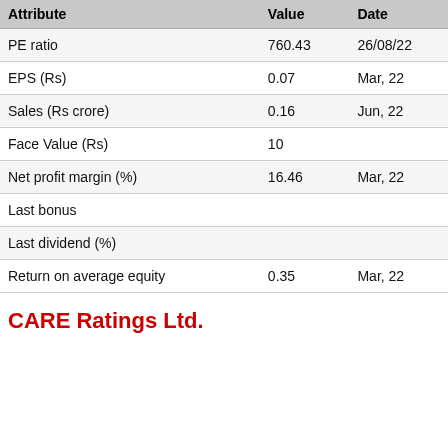| Attribute | Value | Date |
| --- | --- | --- |
| PE ratio | 760.43 | 26/08/22 |
| EPS (Rs) | 0.07 | Mar, 22 |
| Sales (Rs crore) | 0.16 | Jun, 22 |
| Face Value (Rs) | 10 |  |
| Net profit margin (%) | 16.46 | Mar, 22 |
| Last bonus |  |  |
| Last dividend (%) |  |  |
| Return on average equity | 0.35 | Mar, 22 |
CARE Ratings Ltd.